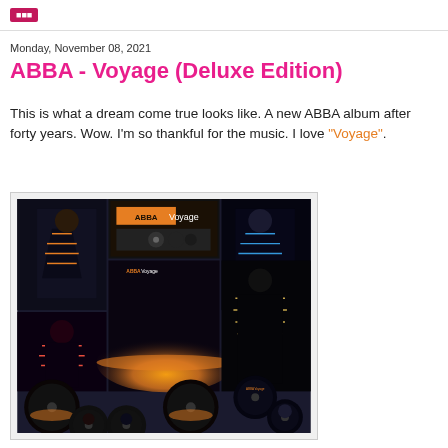Monday, November 08, 2021
ABBA - Voyage (Deluxe Edition)
This is what a dream come true looks like. A new ABBA album after forty years. Wow. I'm so thankful for the music. I love "Voyage".
[Figure (photo): Photo of ABBA Voyage Deluxe Edition album package contents spread out on a white surface, showing CD booklets, vinyl records with portraits of band members in futuristic costumes, circular badges/coasters, and album artwork with glowing planet imagery.]